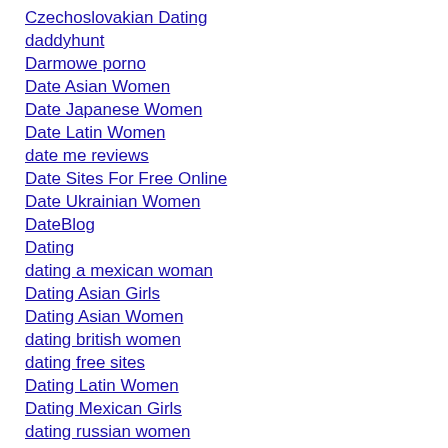Czechoslovakian Dating
daddyhunt
Darmowe porno
Date Asian Women
Date Japanese Women
Date Latin Women
date me reviews
Date Sites For Free Online
Date Ukrainian Women
DateBlog
Dating
dating a mexican woman
Dating Asian Girls
Dating Asian Women
dating british women
dating free sites
Dating Latin Women
Dating Mexican Girls
dating russian women